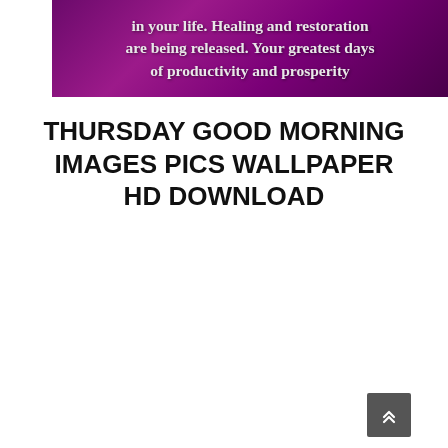[Figure (photo): Purple/magenta background image with white bold text reading: 'in your life. Healing and restoration are being released. Your greatest days of productivity and prosperity' (partially cut off at bottom)]
THURSDAY GOOD MORNING IMAGES PICS WALLPAPER HD DOWNLOAD
[Figure (photo): Dark purple/magenta floral background image with decorative script text 'Good Morning' and bold text 'Happy Thursday', with purple roses and feathers in the foreground]